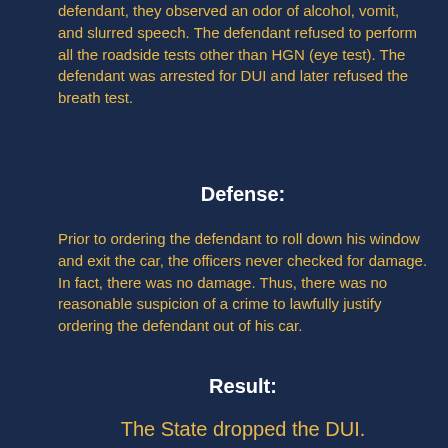defendant, they observed an odor of alcohol, vomit, and slurred speech. The defendant refused to perform all the roadside tests other than HGN (eye test). The defendant was arrested for DUI and later refused the breath test.
Defense:
Prior to ordering the defendant to roll down his window and exit the car, the officers never checked for damage. In fact, there was no damage. Thus, there was no reasonable suspicion of a crime to lawfully justify ordering the defendant out of his car.
Result:
The State dropped the DUI.